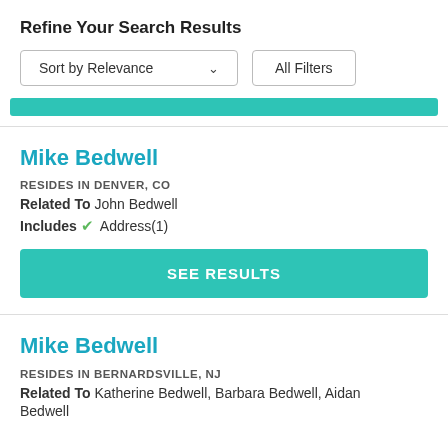Refine Your Search Results
Sort by Relevance   All Filters
Mike Bedwell
RESIDES IN DENVER, CO
Related To John Bedwell
Includes ✔ Address(1)
SEE RESULTS
Mike Bedwell
RESIDES IN BERNARDSVILLE, NJ
Related To Katherine Bedwell, Barbara Bedwell, Aidan Bedwell